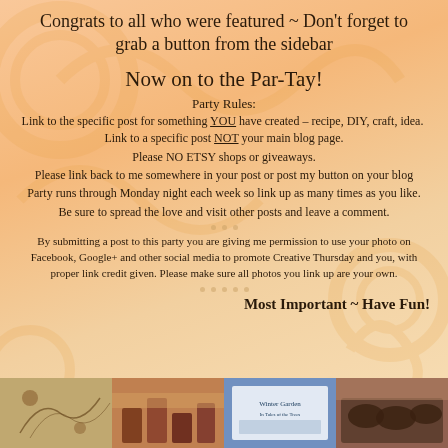Congrats to all who were featured ~ Don't forget to grab a button from the sidebar
Now on to the Par-Tay!
Party Rules:
Link to the specific post for something YOU have created – recipe, DIY, craft, idea.  Link to a specific post NOT your main blog page.
Please NO ETSY shops or giveaways.
Please link back to me somewhere in your post or post my button on your blog
Party runs through Monday night each week so link up as many times as you like.
Be sure to spread the love and visit other posts and leave a comment.
By submitting a post to this party you are giving me permission to use your photo on Facebook, Google+ and other social media to promote Creative Thursday and you, with proper link credit given. Please make sure all photos you link up are your own.
Most Important ~ Have Fun!
[Figure (photo): Thumbnail image 1 - decorative craft/art]
[Figure (photo): Thumbnail image 2 - craft supplies]
[Figure (photo): Thumbnail image 3 - book or garden themed]
[Figure (photo): Thumbnail image 4 - food or baked goods]